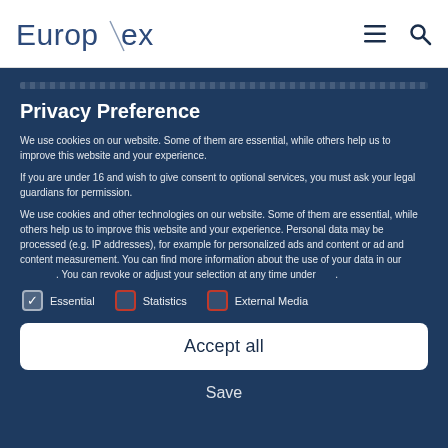[Figure (logo): Europex logo with diagonal slash between 'Europ' and 'ex' in navy blue]
Privacy Preference
We use cookies on our website. Some of them are essential, while others help us to improve this website and your experience.
If you are under 16 and wish to give consent to optional services, you must ask your legal guardians for permission.
We use cookies and other technologies on our website. Some of them are essential, while others help us to improve this website and your experience. Personal data may be processed (e.g. IP addresses), for example for personalized ads and content or ad and content measurement. You can find more information about the use of your data in our . You can revoke or adjust your selection at any time under .
Essential
Statistics
External Media
Accept all
Save